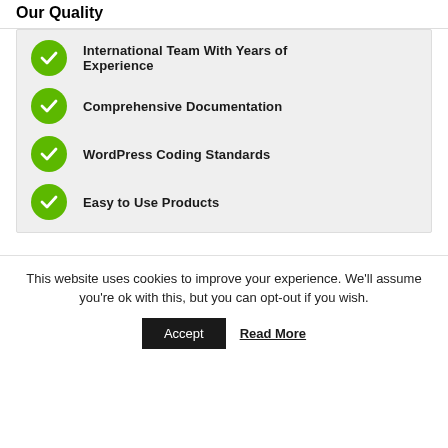Our Quality
International Team With Years of Experience
Comprehensive Documentation
WordPress Coding Standards
Easy to Use Products
This website uses cookies to improve your experience. We'll assume you're ok with this, but you can opt-out if you wish.
Accept
Read More